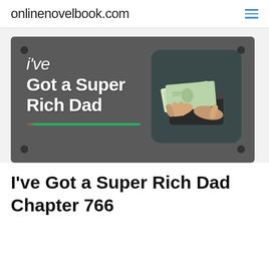onlinenovelbook.com
[Figure (illustration): Book cover banner for 'I've Got a Super Rich Dad' showing title text in white on dark gray background with a photo of hands pulling money from a wallet in the right side, corner dots decoration, and a green underline accent.]
I've Got a Super Rich Dad Chapter 766